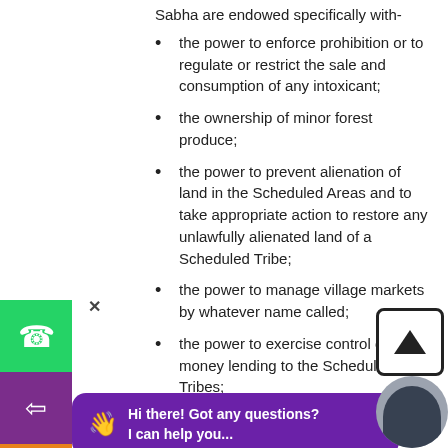Sabha are endowed specifically with-
the power to enforce prohibition or to regulate or restrict the sale and consumption of any intoxicant;
the ownership of minor forest produce;
the power to prevent alienation of land in the Scheduled Areas and to take appropriate action to restore any unlawfully alienated land of a Scheduled Tribe;
the power to manage village markets by whatever name called;
the power to exercise control over money lending to the Scheduled Tribes;
the power to exercise control over institutions and functionaries in...
the power to c... resources for such plans, including tribal sub- plans;
The State Legislations that may endow Panchayats powers and authority as may be necessary to enable them to function as institutions of self-government shall